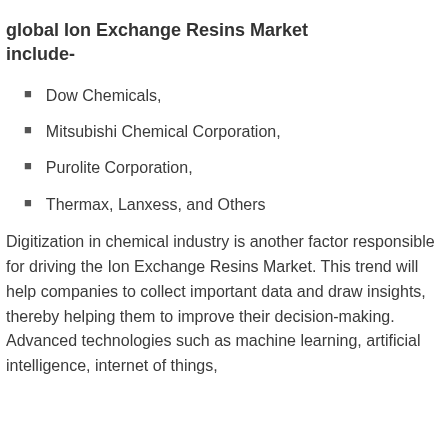global Ion Exchange Resins Market include-
Dow Chemicals,
Mitsubishi Chemical Corporation,
Purolite Corporation,
Thermax, Lanxess, and Others
Digitization in chemical industry is another factor responsible for driving the Ion Exchange Resins Market. This trend will help companies to collect important data and draw insights, thereby helping them to improve their decision-making. Advanced technologies such as machine learning, artificial intelligence, internet of things,